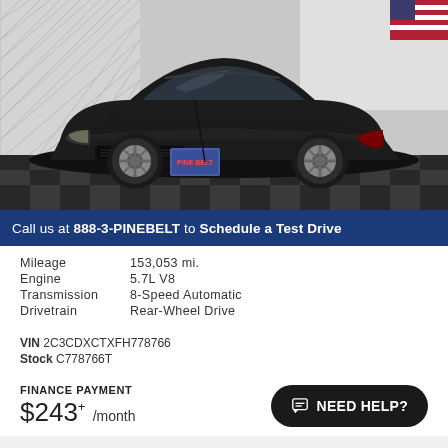[Figure (photo): Black Dodge Charger sedan displayed in a showroom with geometric wall and American flag in background. License plate reads PINE BELT.]
Call us at 888-3-PINEBELT to Schedule a Test Drive
| Mileage | 153,053 mi. |
| Engine | 5.7L V8 |
| Transmission | 8-Speed Automatic |
| Drivetrain | Rear-Wheel Drive |
VIN 2C3CDXCTXFH778766
Stock C778766T
FINANCE PAYMENT $243+ /month
NEED HELP?